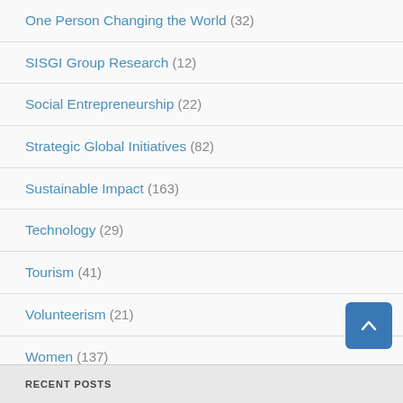One Person Changing the World (32)
SISGI Group Research (12)
Social Entrepreneurship (22)
Strategic Global Initiatives (82)
Sustainable Impact (163)
Technology (29)
Tourism (41)
Volunteerism (21)
Women (137)
Youth (87)
RECENT POSTS